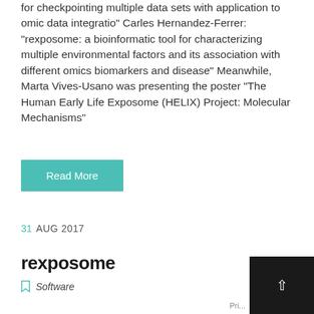for checkpointing multiple data sets with application to omic data integratio" Carles Hernandez-Ferrer: "rexposome: a bioinformatic tool for characterizing multiple environmental factors and its association with different omics biomarkers and disease" Meanwhile, Marta Vives-Usano was presenting the poster "The Human Early Life Exposome (HELIX) Project: Molecular Mechanisms"
Read More
31 AUG 2017
rexposome
Software